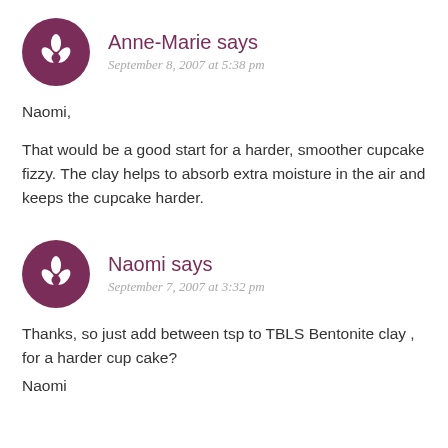Anne-Marie says
September 8, 2007 at 5:38 pm
Naomi,
That would be a good start for a harder, smoother cupcake fizzy. The clay helps to absorb extra moisture in the air and keeps the cupcake harder.
Naomi says
September 7, 2007 at 3:32 pm
Thanks, so just add between tsp to TBLS Bentonite clay , for a harder cup cake?
Naomi